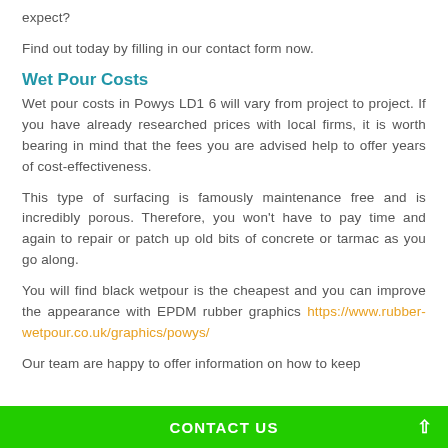expect?
Find out today by filling in our contact form now.
Wet Pour Costs
Wet pour costs in Powys LD1 6 will vary from project to project. If you have already researched prices with local firms, it is worth bearing in mind that the fees you are advised help to offer years of cost-effectiveness.
This type of surfacing is famously maintenance free and is incredibly porous. Therefore, you won't have to pay time and again to repair or patch up old bits of concrete or tarmac as you go along.
You will find black wetpour is the cheapest and you can improve the appearance with EPDM rubber graphics https://www.rubber-wetpour.co.uk/graphics/powys/
Our team are happy to offer information on how to keep
CONTACT US